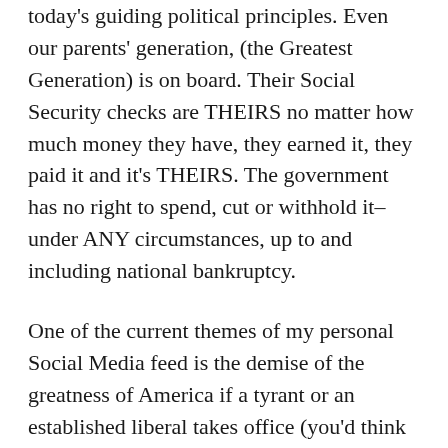today's guiding political principles. Even our parents' generation, (the Greatest Generation) is on board. Their Social Security checks are THEIRS no matter how much money they have, they earned it, they paid it and it's THEIRS. The government has no right to spend, cut or withhold it–under ANY circumstances, up to and including national bankruptcy.
One of the current themes of my personal Social Media feed is the demise of the greatness of America if a tyrant or an established liberal takes office (you'd think they are one in the same). They bemoan the potential loss of liberty, fear religious